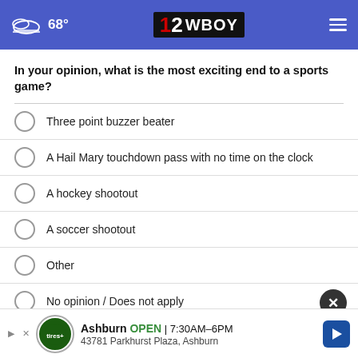68° 12WBOY
In your opinion, what is the most exciting end to a sports game?
Three point buzzer beater
A Hail Mary touchdown pass with no time on the clock
A hockey shootout
A soccer shootout
Other
No opinion / Does not apply
NEXT *
* By clicking "NEXT" you agree to the following: We use cookies to track your survey answers. If you would like to continue with this survey, please reach
Ashburn  OPEN  7:30AM–6PM  43781 Parkhurst Plaza, Ashburn